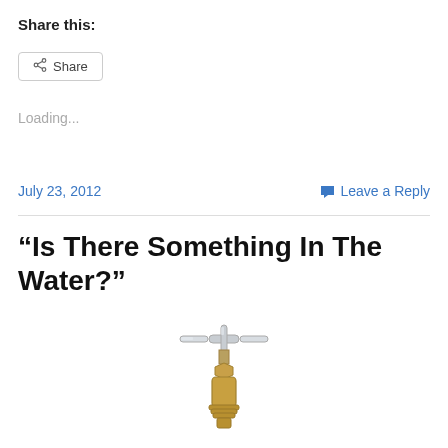Share this:
Share
Loading...
July 23, 2012
Leave a Reply
“Is There Something In The Water?”
[Figure (photo): Close-up photograph of a brass water faucet/tap valve with a chrome cross handle on a white background]